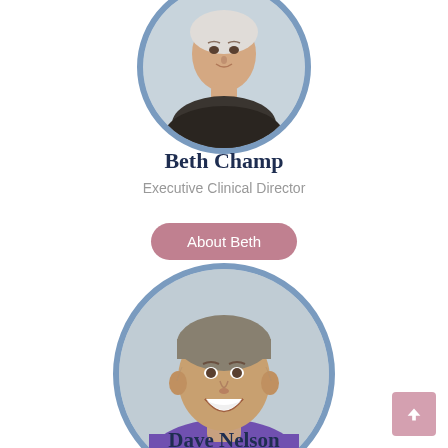[Figure (photo): Circular portrait photo of Beth Champ with blue-grey border, cropped at top]
Beth Champ
Executive Clinical Director
About Beth
[Figure (photo): Circular portrait photo of Dave Nelson, middle-aged man smiling, wearing purple shirt, with blue-grey border]
Dave Nelson